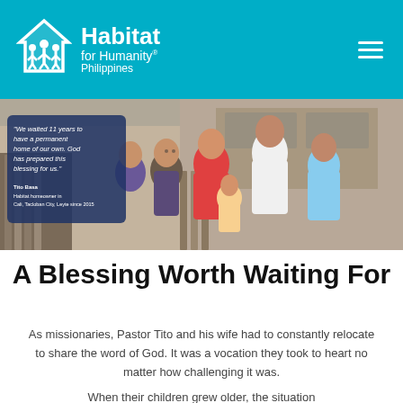[Figure (logo): Habitat for Humanity Philippines logo on cyan/teal header background, with hamburger menu icon top-right]
[Figure (photo): Family of six smiling together outdoors near a wooden fence and building. Quote overlay on dark blue box reads: 'We waited 11 years to have a permanent home of our own. God has prepared this blessing for us.' attributed to Tito Basa, Habitat homeowner in Cali, Tacloban City, Leyte since 2015.]
A Blessing Worth Waiting For
As missionaries, Pastor Tito and his wife had to constantly relocate to share the word of God. It was a vocation they took to heart no matter how challenging it was.
When their children grew older, the situation